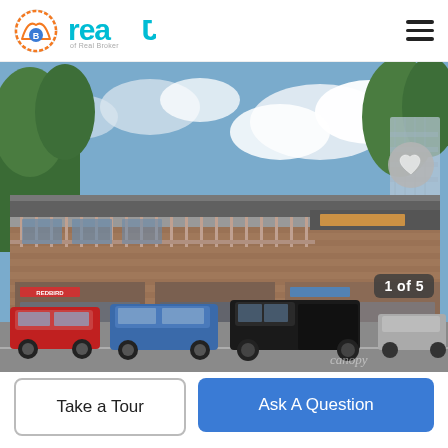[Figure (logo): Real Broker logo with badge icon and stylized 'real' text in teal/cyan color]
[Figure (photo): Exterior photo of a two-story commercial brick building with gray metal roof, covered walkway/balcony on second floor, several cars parked in front including a red SUV, blue SUV, and black pickup truck, trees in background, sunny day with blue sky and clouds. Watermark 'canopy' visible. Counter shows '1 of 5'.]
Take a Tour
Ask A Question